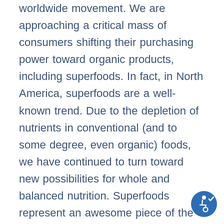worldwide movement. We are approaching a critical mass of consumers shifting their purchasing power toward organic products, including superfoods. In fact, in North America, superfoods are a well-known trend. Due to the depletion of nutrients in conventional (and to some degree, even organic) foods, we have continued to turn toward new possibilities for whole and balanced nutrition. Superfoods represent an awesome piece of the nutrition puzzle, as they are great sources of clean, hormone-free, pesticide, and chemical-free: Protein | Minerals Antioxidants | Good Fats and Oils Essential Amino Acids | Glyconutrients |